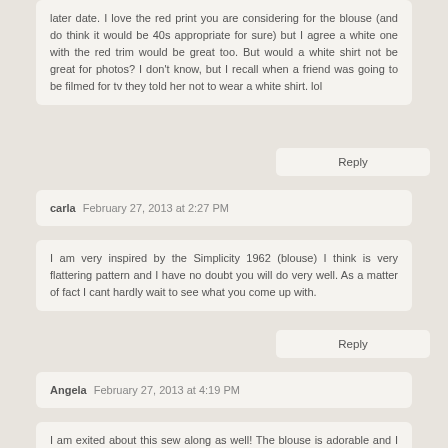later date. I love the red print you are considering for the blouse (and do think it would be 40s appropriate for sure) but I agree a white one with the red trim would be great too. But would a white shirt not be great for photos? I don't know, but I recall when a friend was going to be filmed for tv they told her not to wear a white shirt. lol
Reply
carla  February 27, 2013 at 2:27 PM
I am very inspired by the Simplicity 1962 (blouse) I think is very flattering pattern and I have no doubt you will do very well. As a matter of fact I cant hardly wait to see what you come up with.
Reply
Angela  February 27, 2013 at 4:19 PM
I am exited about this sew along as well! The blouse is adorable and I love the fabric, wish you had time to make it all!